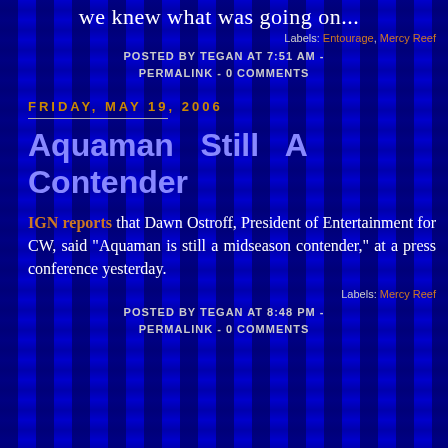we knew what was going on...
Labels: Entourage, Mercy Reef
POSTED BY TEGAN AT 7:51 AM - PERMALINK - 0 COMMENTS
FRIDAY, MAY 19, 2006
Aquaman Still A Contender
IGN reports that Dawn Ostroff, President of Entertainment for CW, said "Aquaman is still a midseason contender," at a press conference yesterday.
Labels: Mercy Reef
POSTED BY TEGAN AT 8:48 PM - PERMALINK - 0 COMMENTS